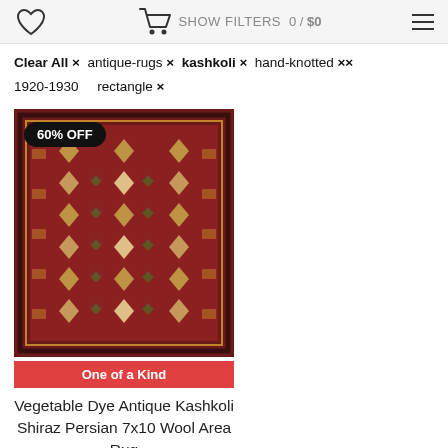0 / $0
Clear All × antique-rugs × kashkoli × hand-knotted × 1920-1930   rectangle ×
[Figure (photo): Photo of a Vegetable Dye Antique Kashkoli Shiraz Persian 7x10 Wool Area Rug with red, blue, and beige geometric patterns. Has a '60% OFF' badge and 'One of a Kind' banner.]
Vegetable Dye Antique Kashkoli Shiraz Persian 7x10 Wool Area Rug
9' 8" x 6' 10"